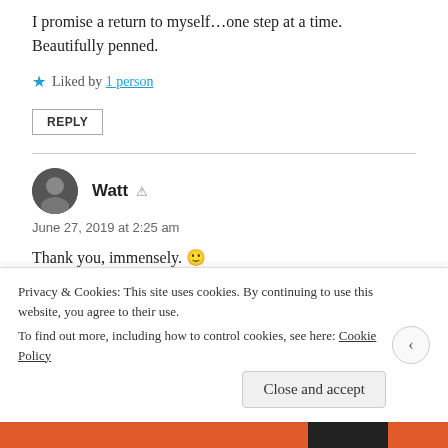I promise a return to myself…one step at a time. Beautifully penned.
★ Liked by 1 person
REPLY
Watt
June 27, 2019 at 2:25 am
Thank you, immensely. 🙂
★ Liked by 1 person
Privacy & Cookies: This site uses cookies. By continuing to use this website, you agree to their use. To find out more, including how to control cookies, see here: Cookie Policy
Close and accept